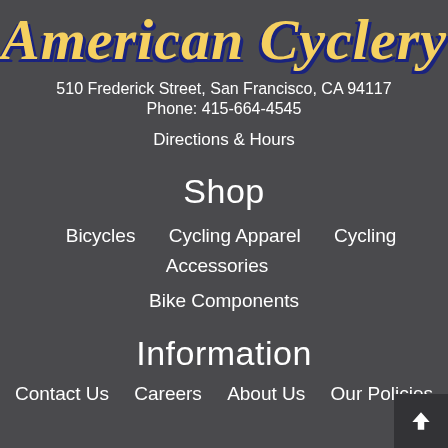American Cyclery
510 Frederick Street, San Francisco, CA 94117
Phone: 415-664-4545
Directions & Hours
Shop
Bicycles
Cycling Apparel
Cycling Accessories
Bike Components
Information
Contact Us
Careers
About Us
Our Policies